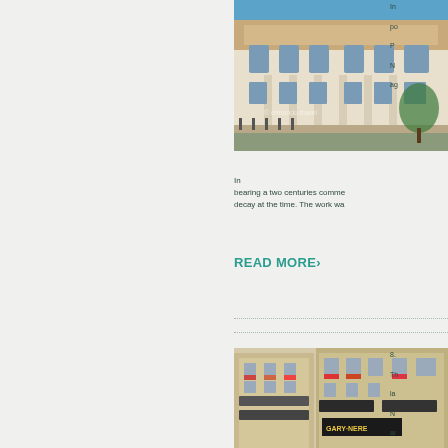[Figure (photo): A neoclassical building facade with columns, ornate details, blue sky, trees — appears to be a public building in Eastern Europe (Romania/Bucharest area). Watermark visible.]
In ... po... P... N... ag...
In ... bearing a two centuries comme... decay at the time. The work wa...
READ MORE›
[Figure (photo): A European urban street scene showing ornate multi-story buildings with Baroque/Art Nouveau style architecture, flower boxes in windows, commercial signs including one reading GARY NERE, people and shops visible at street level.]
8. ... Th... la... N... ar...